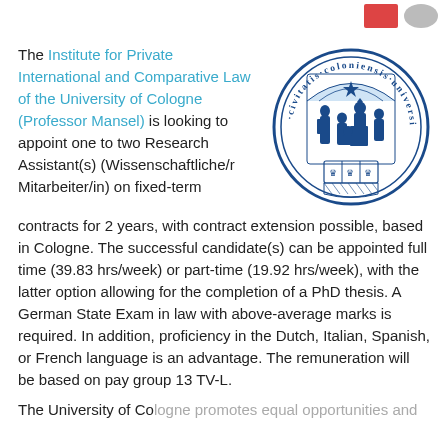[Figure (logo): University of Cologne official seal/crest — circular blue seal with Latin text and medieval figures]
The Institute for Private International and Comparative Law of the University of Cologne (Professor Mansel) is looking to appoint one to two Research Assistant(s) (Wissenschaftliche/r Mitarbeiter/in) on fixed-term contracts for 2 years, with contract extension possible, based in Cologne. The successful candidate(s) can be appointed full time (39.83 hrs/week) or part-time (19.92 hrs/week), with the latter option allowing for the completion of a PhD thesis. A German State Exam in law with above-average marks is required. In addition, proficiency in the Dutch, Italian, Spanish, or French language is an advantage. The remuneration will be based on pay group 13 TV-L.
The University of Cologne promotes equal opportunities and diversity...